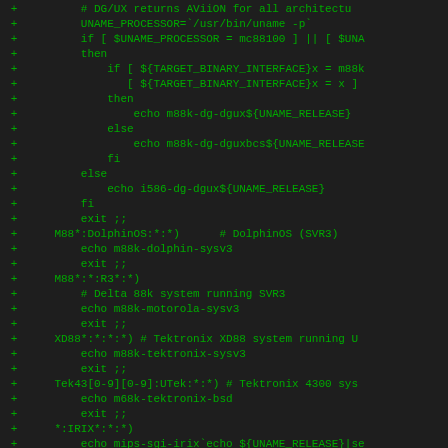[Figure (screenshot): Diff/patch code block showing shell script lines with green monospace text on dark background. Lines prefixed with '+' show additions to a configure script handling various Unix system architectures (DG/UX, DolphinOS, M88k, XD88, Tektronix, IRIX).]